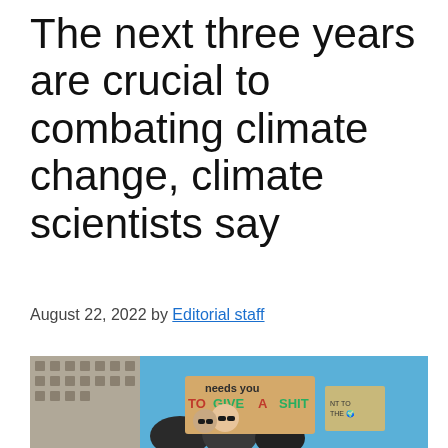The next three years are crucial to combating climate change, climate scientists say
August 22, 2022 by Editorial staff
[Figure (photo): Protesters at a climate march holding signs including one that reads 'needs you TO GIVE A SHIT', with a city building in the background and blue sky.]